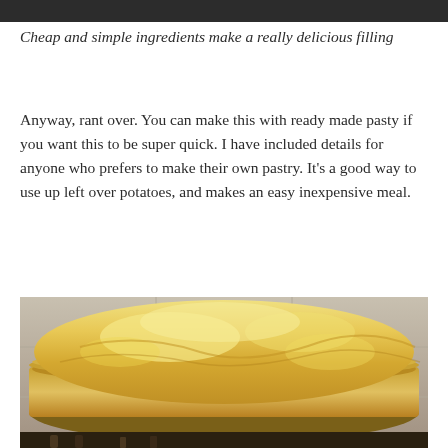Cheap and simple ingredients make a really delicious filling
Anyway, rant over. You can make this with ready made pasty if you want this to be super quick. I have included details for anyone who prefers to make their own pastry. It's a good way to use up left over potatoes, and makes an easy inexpensive meal.
[Figure (photo): Close-up photo of a golden baked pie in a round pie dish, showing the crimped pastry crust and flaky golden top, photographed from a low angle against a tiled background.]